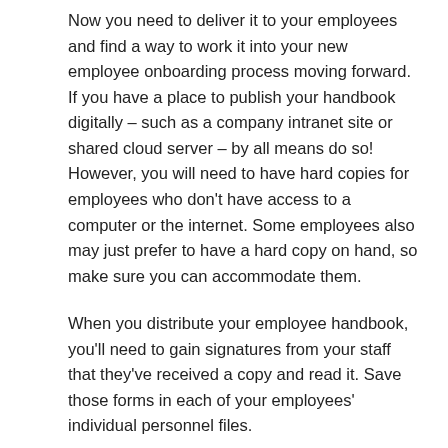Now you need to deliver it to your employees and find a way to work it into your new employee onboarding process moving forward. If you have a place to publish your handbook digitally – such as a company intranet site or shared cloud server – by all means do so! However, you will need to have hard copies for employees who don't have access to a computer or the internet. Some employees also may just prefer to have a hard copy on hand, so make sure you can accommodate them.
When you distribute your employee handbook, you'll need to gain signatures from your staff that they've received a copy and read it. Save those forms in each of your employees' individual personnel files.